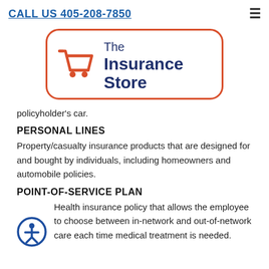CALL US 405-208-7850
[Figure (logo): The Insurance Store logo with shopping cart icon, orange border, navy blue text]
policyholder's car.
PERSONAL LINES
Property/casualty insurance products that are designed for and bought by individuals, including homeowners and automobile policies.
POINT-OF-SERVICE PLAN
Health insurance policy that allows the employee to choose between in-network and out-of-network care each time medical treatment is needed.